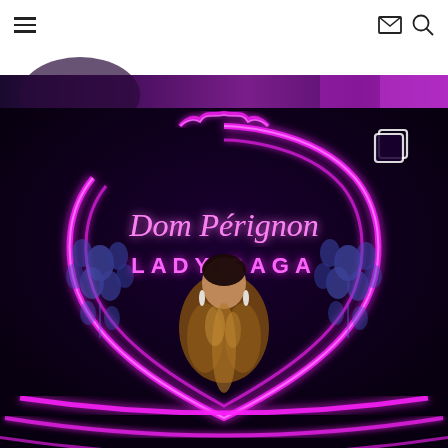Navigation header with hamburger menu, email icon, and search icon
[Figure (photo): Top portion of a photo showing a purple/magenta lit background, partially cropped at the top of the page]
[Figure (photo): A woman in a metallic gold/bronze blazer suit stands in front of a large neon pink Dom Perignon x Lady Gaga logo sign with purple floral decorations on a dark background. A copy/duplicate icon is visible in the upper right of the image.]